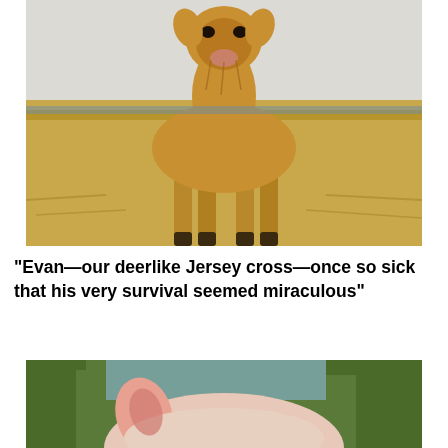[Figure (photo): A young calf (Evan, a deer-like Jersey cross) standing on straw hay inside a barn with white block walls. The calf is thin with tan/golden fur, facing the camera directly.]
"Evan—our deerlike Jersey cross—once so sick that his very survival seemed miraculous"
[Figure (photo): Partial view of a pink-eared animal (likely a pig) outdoors with trees in the background, showing just the top of the head and ears.]